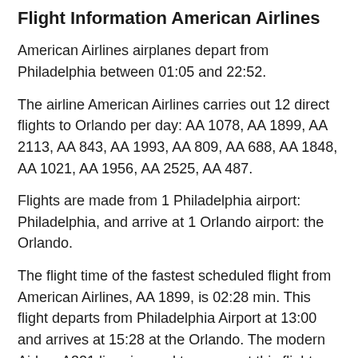Flight Information American Airlines
American Airlines airplanes depart from Philadelphia between 01:05 and 22:52.
The airline American Airlines carries out 12 direct flights to Orlando per day: AA 1078, AA 1899, AA 2113, AA 843, AA 1993, AA 809, AA 688, AA 1848, AA 1021, AA 1956, AA 2525, AA 487.
Flights are made from 1 Philadelphia airport: Philadelphia, and arrive at 1 Orlando airport: the Orlando.
The flight time of the fastest scheduled flight from American Airlines, AA 1899, is 02:28 min. This flight departs from Philadelphia Airport at 13:00 and arrives at 15:28 at the Orlando. The modern Airbus A321 liner is used to carry out this flight.
The most popular airport in Philadelphia from which American Airlines airplanes fly is Philadelphia (14 flights from this airport), and the most popular airport of arrival in Orlando is